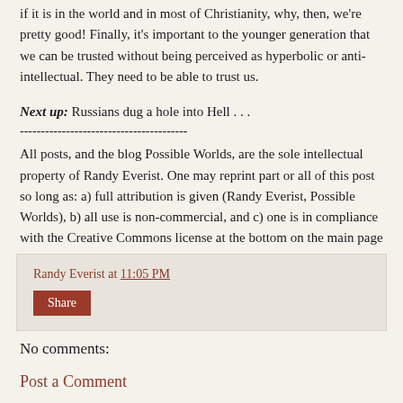if it is in the world and in most of Christianity, why, then, we're pretty good! Finally, it's important to the younger generation that we can be trusted without being perceived as hyperbolic or anti-intellectual. They need to be able to trust us.
Next up: Russians dug a hole into Hell . . .
----------------------------------------
All posts, and the blog Possible Worlds, are the sole intellectual property of Randy Everist. One may reprint part or all of this post so long as: a) full attribution is given (Randy Everist, Possible Worlds), b) all use is non-commercial, and c) one is in compliance with the Creative Commons license at the bottom on the main page of this blog.
Randy Everist at 11:05 PM
Share
No comments:
Post a Comment